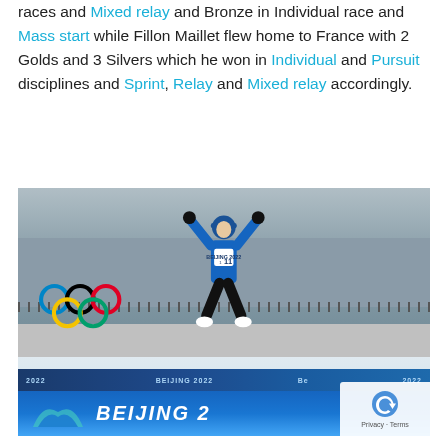races and Mixed relay and Bronze in Individual race and Mass start while Fillon Maillet flew home to France with 2 Golds and 3 Silvers which he won in Individual and Pursuit disciplines and Sprint, Relay and Mixed relay accordingly.
[Figure (photo): A biathlete (Quentin Fillon Maillet, number 11) jumping joyfully in celebration at the Beijing 2022 Winter Olympics venue, wearing a blue French team suit with number 11 bib. The Olympic rings banner is visible in the background along with a snowy setting and Beijing 2022 branding on the ground and lower banners.]